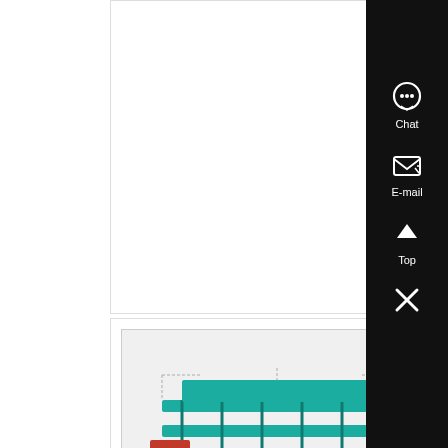Making Hammer Mill, Placer Gold Washing Plant, Sudan Wet Pan Mill, Jaw Crusher Supplier...
Know More
[Figure (illustration): 3D render of an industrial conveyor belt or screening plant system with green trusses and structural elements on a concrete base.]
Cargill to boost US soy crush capacity, plant efficiency ,